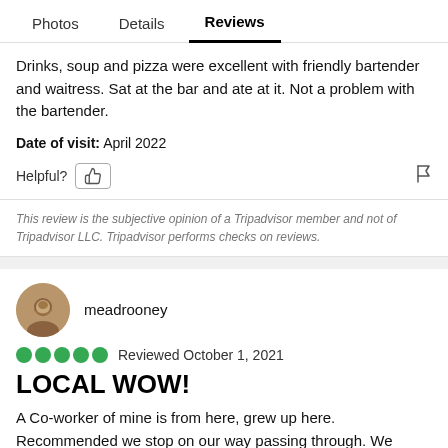Photos   Details   Reviews
Drinks, soup and pizza were excellent with friendly bartender and waitress. Sat at the bar and ate at it. Not a problem with the bartender.
Date of visit: April 2022
Helpful?
This review is the subjective opinion of a Tripadvisor member and not of Tripadvisor LLC. Tripadvisor performs checks on reviews.
meadrooney
Reviewed October 1, 2021
LOCAL WOW!
A Co-worker of mine is from here, grew up here. Recommended we stop on our way passing through. We picked up 2 large pies with cheese and sausage. Ate 1 in the car while we were driving. FANTASTIC!! Just delicious.